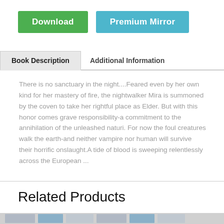[Figure (other): Green Download button and light blue Premium Mirror button]
Book Description	Additional Information
There is no sanctuary in the night....Feared even by her own kind for her mastery of fire, the nightwalker Mira is summoned by the coven to take her rightful place as Elder. But with this honor comes grave responsibility-a commitment to the annihilation of the unleashed naturi. For now the foul creatures walk the earth-and neither vampire nor human will survive their horrific onslaught.A tide of blood is sweeping relentlessly across the European ...
Related Products